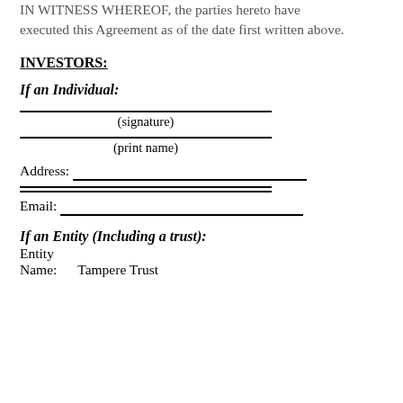IN WITNESS WHEREOF, the parties hereto have executed this Agreement as of the date first written above.
INVESTORS:
If an Individual:
(signature)
(print name)
Address:
Email:
If an Entity (Including a trust):
Entity
Name:    Tampere Trust